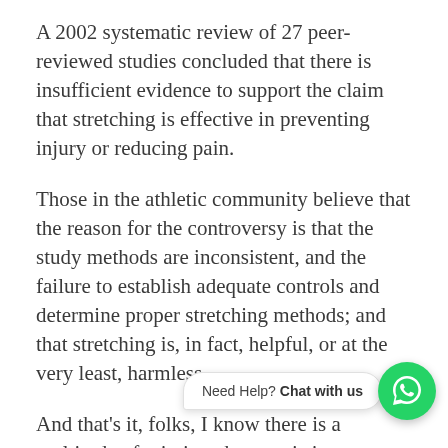A 2002 systematic review of 27 peer-reviewed studies concluded that there is insufficient evidence to support the claim that stretching is effective in preventing injury or reducing pain.
Those in the athletic community believe that the reason for the controversy is that the study methods are inconsistent, and the failure to establish adequate controls and determine proper stretching methods; and that stretching is, in fact, helpful, or at the very least, harmless.
And that's it, folks, I know there is a multitude of missing characteristics or definitions, but this is pretty much the most in ... be able to write based on my reading, information and studies.